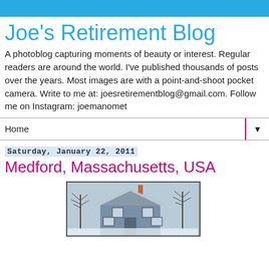Joe's Retirement Blog
A photoblog capturing moments of beauty or interest. Regular readers are around the world. I've published thousands of posts over the years. Most images are with a point-and-shoot pocket camera. Write to me at: joesretirementblog@gmail.com. Follow me on Instagram: joemanomet
Home
Saturday, January 22, 2011
Medford, Massachusetts, USA
[Figure (photo): A blue two-story house covered in snow with bare winter trees in the foreground, photographed in Medford, Massachusetts, USA in January 2011.]